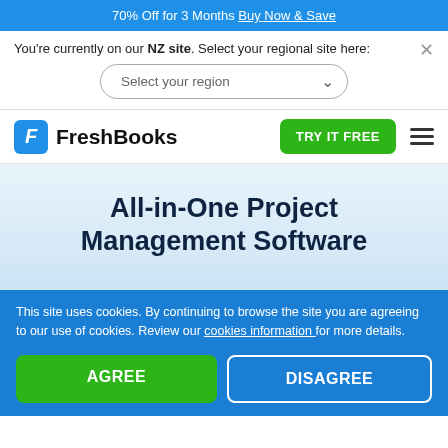70% Off for 3 Months Buy Now & Save
You're currently on our NZ site. Select your regional site here:
Select your region
[Figure (logo): FreshBooks logo with blue F icon and 'FreshBooks' wordmark, plus TRY IT FREE green button and hamburger menu]
All-in-One Project Management Software
This site uses cookies. By continuing to browse the site you are agreeing to our use of cookies. Review our cookies information for more details.
AGREE
DISAGREE